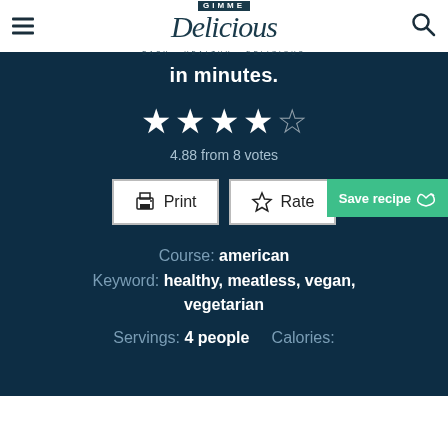Gimme Delicious — EASY · HEALTHY · DELICIOUS
in minutes.
★★★★★ 4.88 from 8 votes
Print | Rate | Save recipe
Course: american
Keyword: healthy, meatless, vegan, vegetarian
Servings: 4 people    Calories: